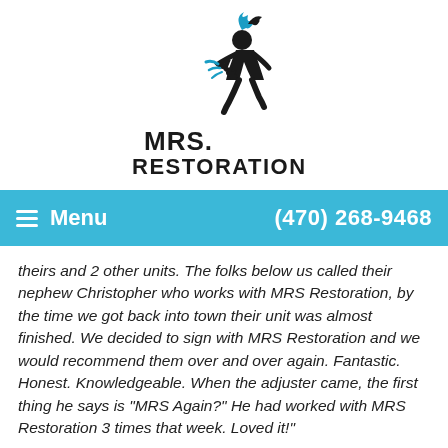[Figure (logo): MRS. Restoration logo featuring a running figure with blue flame/water elements above bold text reading MRS. RESTORATION]
Menu   (470) 268-9468
theirs and 2 other units. The folks below us called their nephew Christopher who works with MRS Restoration, by the time we got back into town their unit was almost finished. We decided to sign with MRS Restoration and we would recommend them over and over again. Fantastic. Honest. Knowledgeable. When the adjuster came, the first thing he says is "MRS Again?" He had worked with MRS Restoration 3 times that week. Loved it!"
Mr. & Mrs. Dr. Conner in Smyrna, GA